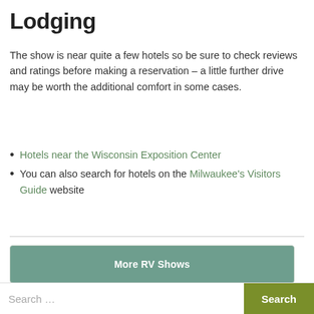Lodging
The show is near quite a few hotels so be sure to check reviews and ratings before making a reservation – a little further drive may be worth the additional comfort in some cases.
Hotels near the Wisconsin Exposition Center
You can also search for hotels on the Milwaukee's Visitors Guide website
[Figure (other): Button: More RV Shows]
[Figure (other): Button: Visit Event Website]
[Figure (other): Search bar with Search button]